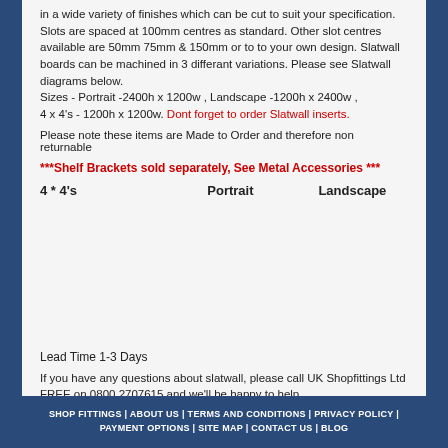in a wide variety of finishes which can be cut to suit your specification. Slots are spaced at 100mm centres as standard. Other slot centres available are 50mm 75mm & 150mm or to to your own design. Slatwall boards can be machined in 3 differant variations. Please see Slatwall diagrams below. Sizes - Portrait -2400h x 1200w , Landscape -1200h x 2400w , 4 x 4's - 1200h x 1200w. Dont forget to order Slatwall inserts.
Please note these items are Made to Order and therefore non returnable
***Shelf Brackets sold separately, See Metal Accessories ***
4 * 4's    Portrait    Landscape
Lead Time 1-3 Days
If you have any questions about slatwall, please call UK Shopfittings Ltd FREE on 0800 2707615 and we'll be happy to help.
Buy Now!
SHOP FITTINGS | ABOUT US | TERMS AND CONDITIONS | PRIVACY POLICY | PAYMENT OPTIONS | SITE MAP | CONTACT US | BLOG